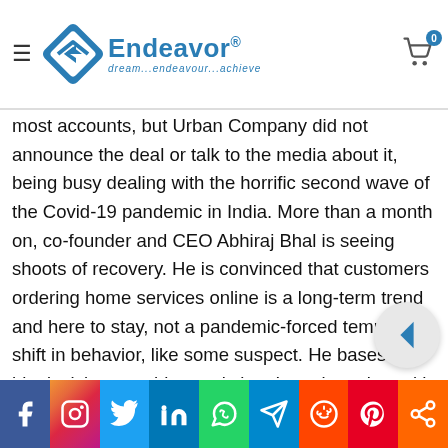Endeavor — dream...endeavour...achieve
most accounts, but Urban Company did not announce the deal or talk to the media about it, being busy dealing with the horrific second wave of the Covid-19 pandemic in India. More than a month on, co-founder and CEO Abhiraj Bhal is seeing shoots of recovery. He is convinced that customers ordering home services online is a long-term trend and here to stay, not a pandemic-forced temporary shift in behavior, like some suspect. He bases all his decisions on this conviction. In an interview with Moneycontrol's M. Sriram and Chandra R. Srikanth over Zoom, he talks about dealing with the pandemic, bouncing back, expansion plans, and why becoming a unicorn- celebrated by many startups- does not mean much to him.
[Figure (other): Social media share bar with icons for Facebook, Instagram, Twitter, LinkedIn, WhatsApp, Telegram, Reddit, Pinterest, Share]